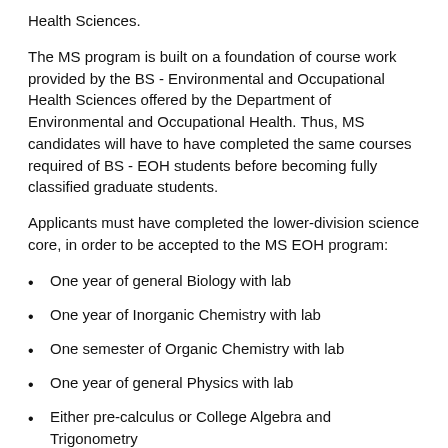Health Sciences.
The MS program is built on a foundation of course work provided by the BS - Environmental and Occupational Health Sciences offered by the Department of Environmental and Occupational Health. Thus, MS candidates will have to have completed the same courses required of BS - EOH students before becoming fully classified graduate students.
Applicants must have completed the lower-division science core, in order to be accepted to the MS EOH program:
One year of general Biology with lab
One year of Inorganic Chemistry with lab
One semester of Organic Chemistry with lab
One year of general Physics with lab
Either pre-calculus or College Algebra and Trigonometry
One semester of statistics or biostatistics
The Master of Science degree in Environmental and